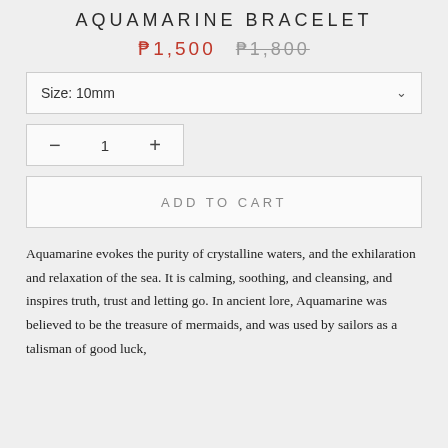AQUAMARINE BRACELET
₱1,500  ₱1,800
Size: 10mm
— 1 +
ADD TO CART
Aquamarine evokes the purity of crystalline waters, and the exhilaration and relaxation of the sea. It is calming, soothing, and cleansing, and inspires truth, trust and letting go. In ancient lore, Aquamarine was believed to be the treasure of mermaids, and was used by sailors as a talisman of good luck,